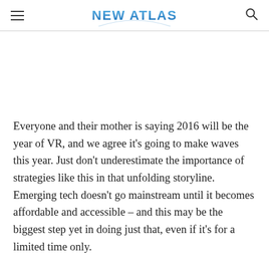NEW ATLAS
Everyone and their mother is saying 2016 will be the year of VR, and we agree it's going to make waves this year. Just don't underestimate the importance of strategies like this in that unfolding storyline. Emerging tech doesn't go mainstream until it becomes affordable and accessible – and this may be the biggest step yet in doing just that, even if it's for a limited time only.